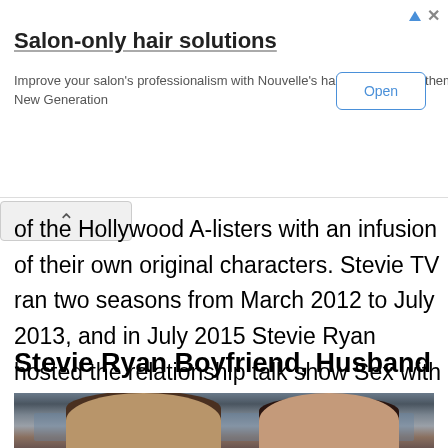[Figure (other): Advertisement banner for Nouvelle hair products with 'Salon-only hair solutions' headline, body text, and Open button]
of the Hollywood A-listers with an infusion of their own original characters. Stevie TV ran two seasons from March 2012 to July 2013, and in July 2015 Stevie Ryan hosted the relationship talk show Sex with Brody on E!
Stevie Ryan Boyfriend, Husband
[Figure (photo): Photo of two people, a young man and a woman with dark hair styled up, posing together]